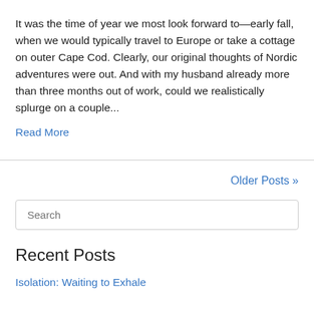It was the time of year we most look forward to—early fall, when we would typically travel to Europe or take a cottage on outer Cape Cod. Clearly, our original thoughts of Nordic adventures were out. And with my husband already more than three months out of work, could we realistically splurge on a couple...
Read More
Older Posts »
Search
Recent Posts
Isolation: Waiting to Exhale